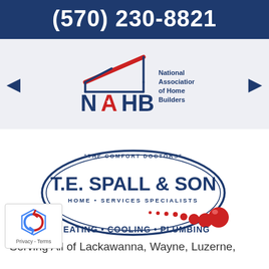(570) 230-8821
[Figure (logo): NAHB - National Association of Home Builders logo with house icon]
[Figure (logo): T.E. Spall & Son - The Comfort Doctors - Home Services Specialists - Heating • Cooling • Plumbing logo]
Serving All of Lackawanna, Wayne, Luzerne,